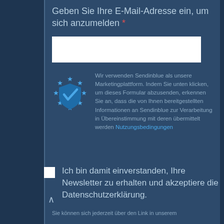Geben Sie Ihre E-Mail-Adresse ein, um sich anzumelden *
[Figure (screenshot): White email input text field]
[Figure (illustration): Blue EU shield/checkmark icon with stars]
Wir verwenden Sendinblue als unsere Marketingplattform. Indem Sie unten klicken, um dieses Formular abzusenden, erkennen Sie an, dass die von Ihnen bereitgestellten Informationen an Sendinblue zur Verarbeitung in Übereinstimmung mit deren übermittelt werden Nutzungsbedingungen
Ich bin damit einverstanden, Ihre Newsletter zu erhalten und akzeptiere die Datenschutzerklärung.
Sie können sich jederzeit über den Link in unserem